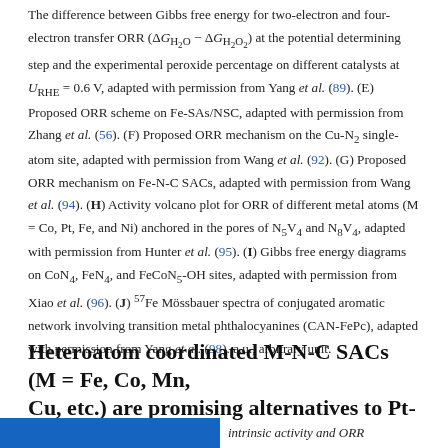The difference between Gibbs free energy for two-electron and four-electron transfer ORR (ΔG_H2O − ΔG_H2O2) at the potential determining step and the experimental peroxide percentage on different catalysts at U_RHE = 0.6 V, adapted with permission from Yang et al. (89). (E) Proposed ORR scheme on Fe-SAs/NSC, adapted with permission from Zhang et al. (56). (F) Proposed ORR mechanism on the Cu-N2 single-atom site, adapted with permission from Wang et al. (92). (G) Proposed ORR mechanism on Fe-N-C SACs, adapted with permission from Wang et al. (94). (H) Activity volcano plot for ORR of different metal atoms (M = Co, Pt, Fe, and Ni) anchored in the pores of N5V4 and N8V4, adapted with permission from Hunter et al. (95). (I) Gibbs free energy diagrams on CoN4, FeN4, and FeCoN5-OH sites, adapted with permission from Xiao et al. (96). (J) 57Fe Mössbauer spectra of conjugated aromatic network involving transition metal phthalocyanines (CAN-FePc), adapted with permission from Yang et al. (98). a.u., arbitrary unit.
Heteroatom coordinated M-N-C SACs (M = Fe, Co, Mn, Cu, etc.) are promising alternatives to Pt-based ORR